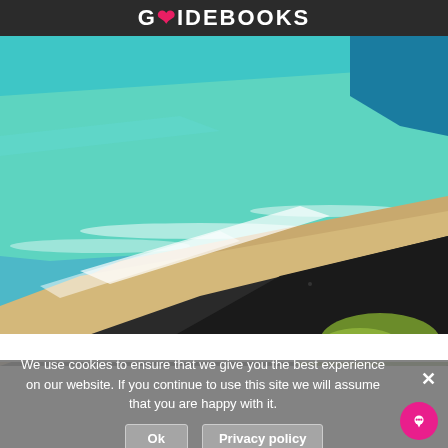GUIDEBOOKS
[Figure (photo): Aerial view of a coastal beach with turquoise and green ocean water, white waves breaking on a sandy shore, rocky headland with dark shadow, and green shrubby vegetation in the foreground bottom right.]
We use cookies to ensure that we give you the best experience on our website. If you continue to use this site we will assume that you are happy with it.
Ok
Privacy policy